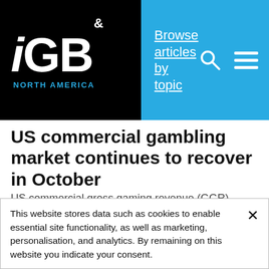iGB North America — Browse articles by topic
US commercial gambling market continues to recover in October
US commercial gross gaming revenue (GGR) increased for the sixth consecutive month in October to $3.38bn, primarily due to growth within both the igaming and...
NEWS   1st December 2020
[Figure (photo): Blue sky with clouds, partial image strip]
This website stores data such as cookies to enable essential site functionality, as well as marketing, personalisation, and analytics. By remaining on this website you indicate your consent.